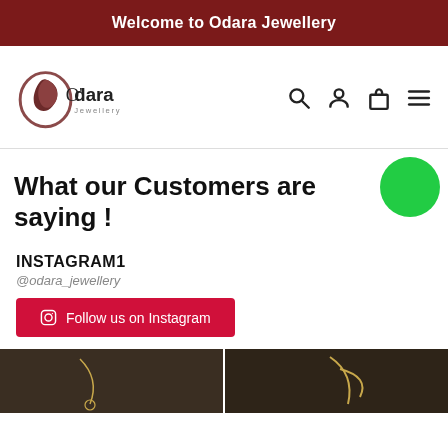Welcome to Odara Jewellery
[Figure (logo): Odara Jewellery logo with circular leaf design]
What our Customers are saying !
INSTAGRAM1
@odara_jewellery
Follow us on Instagram
[Figure (photo): Two side-by-side Instagram photos of gold jewellery/necklaces on dark background]